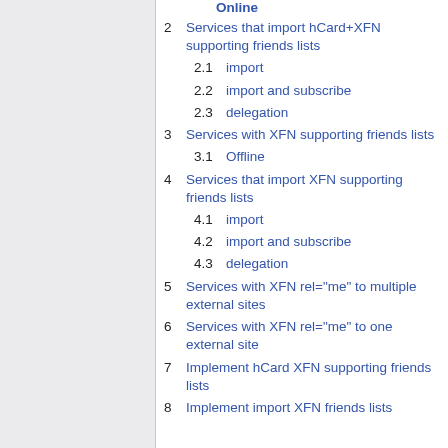2 Services that import hCard+XFN supporting friends lists
2.1 import
2.2 import and subscribe
2.3 delegation
3 Services with XFN supporting friends lists
3.1 Offline
4 Services that import XFN supporting friends lists
4.1 import
4.2 import and subscribe
4.3 delegation
5 Services with XFN rel="me" to multiple external sites
6 Services with XFN rel="me" to one external site
7 Implement hCard XFN supporting friends lists
8 Implement import XFN friends lists